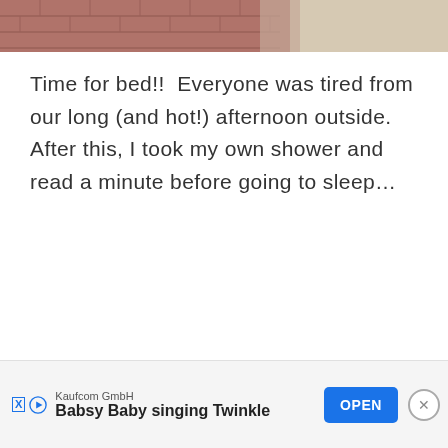[Figure (photo): Partial photo showing a dark reddish-brown brick wall on the left and a beige/tan surface on the right, cropped at the top of the page]
Time for bed!!  Everyone was tired from our long (and hot!) afternoon outside.  After this, I took my own shower and read a minute before going to sleep...
[Figure (infographic): Advertisement banner: Kaufcom GmbH - Babsy Baby singing Twinkle, with OPEN button and close X button]